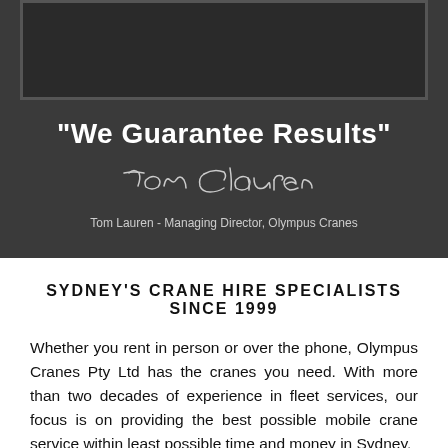[Figure (photo): Dark rectangular image area at the top of the page, appears to be a photo placeholder with dark gray background and border]
“We Guarantee Results”
[Figure (illustration): Handwritten cursive signature reading Tom Lauren]
Tom Lauren - Managing Director, Olympus Cranes
SYDNEY’S CRANE HIRE SPECIALISTS SINCE 1999
Whether you rent in person or over the phone, Olympus Cranes Pty Ltd has the cranes you need. With more than two decades of experience in fleet services, our focus is on providing the best possible mobile crane service within least possible time and money in Sydney.